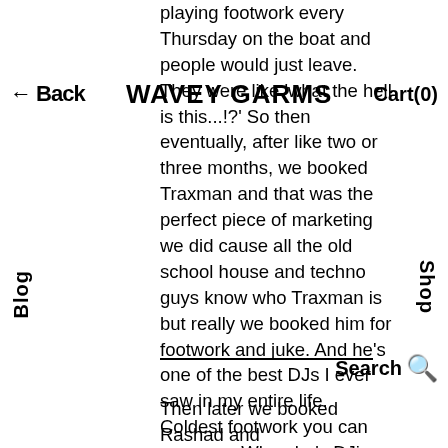← Back  WAVEY GARMS  Cart(0)
playing footwork every Thursday on the boat and people would just leave. They were like 'what the hell is this...!?' So then eventually, after like two or three months, we booked Traxman and that was the perfect piece of marketing we did cause all the old school house and techno guys know who Traxman is but really we booked him for footwork and juke. And he's one of the best DJs I ever saw in my entire life. Coldest footwork you can ever see. When he's DJing he's a showman - showing you the samples that he uses, and he was playing rap, disco acid house, techno, going on and on and all the time on the mic... a fucking concert. And I think that's when everyone started getting footwork here cause I don't think we presented it too well, I mean DJ wise.
Then later we booked Rashad and
Blog
Shop
Search